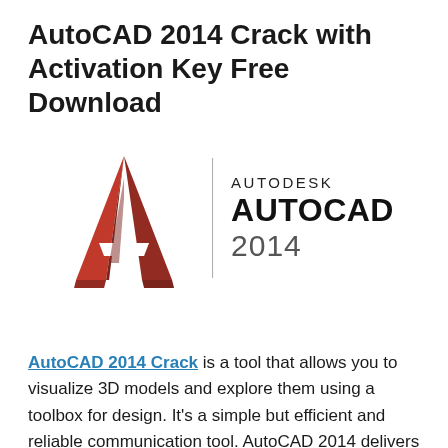AutoCAD 2014 Crack with Activation Key Free Download
[Figure (logo): Autodesk AutoCAD 2014 logo — red triangular 'A' icon on the left, a vertical divider line, and 'AUTODESK AUTOCAD 2014' text on the right]
AutoCAD 2014 Crack is a tool that allows you to visualize 3D models and explore them using a toolbox for design. It's a simple but efficient and reliable communication tool. AutoCAD 2014 delivers